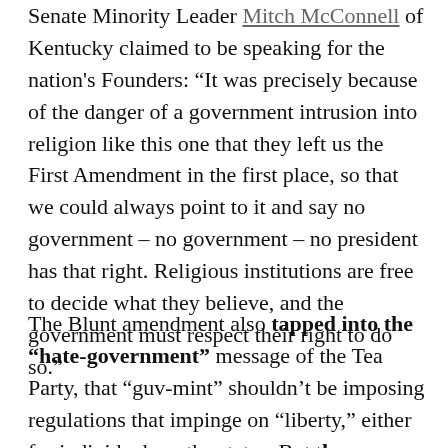Senate Minority Leader Mitch McConnell of Kentucky claimed to be speaking for the nation's Founders: “It was precisely because of the danger of a government intrusion into religion like this one that they left us the First Amendment in the first place, so that we could always point to it and say no government – no government – no president has that right. Religious institutions are free to decide what they believe, and the government must respect their right to do so.”
The Blunt amendment also tapped into the “hate-government” message of the Tea Party, that “guv-mint” shouldn’t be imposing regulations that impinge on “liberty,” either for individuals or the states. But these propaganda themes rely on a revisionist founding narrative of the United States, pretending that the Founders opposed a